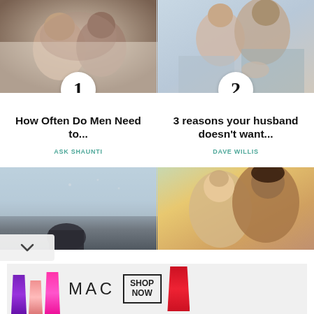[Figure (photo): Couple facing each other intimately in bed, black and white tones]
1
How Often Do Men Need to...
ASK SHAUNTI
[Figure (photo): Couple sitting together, one resting head on other's shoulder]
2
3 reasons your husband doesn't want...
DAVE WILLIS
[Figure (photo): Person with camera near water/sea]
[Figure (photo): Couple kissing outdoors]
[Figure (advertisement): MAC cosmetics ad with lipsticks - SHOP NOW button]